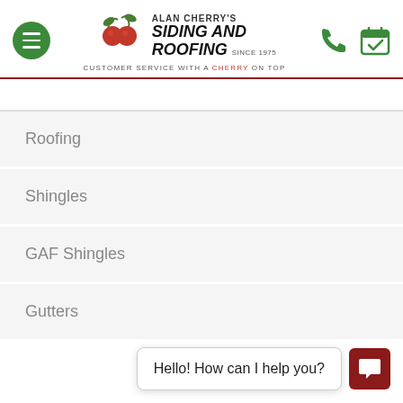[Figure (logo): Alan Cherry's Siding and Roofing company logo with cherry icon, since 1975. Tagline: Customer Service With A Cherry On Top]
Roofing
Shingles
GAF Shingles
Gutters
Hello! How can I help you?